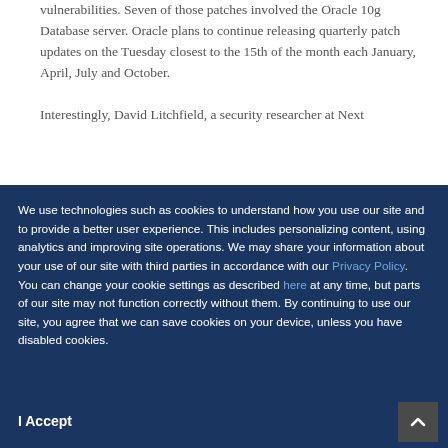vulnerabilities. Seven of those patches involved the Oracle 10g Database server. Oracle plans to continue releasing quarterly patch updates on the Tuesday closest to the 15th of the month each January, April, July and October.
Interestingly, David Litchfield, a security researcher at Next
We use technologies such as cookies to understand how you use our site and to provide a better user experience. This includes personalizing content, using analytics and improving site operations. We may share your information about your use of our site with third parties in accordance with our Privacy Policy. You can change your cookie settings as described here at any time, but parts of our site may not function correctly without them. By continuing to use our site, you agree that we can save cookies on your device, unless you have disabled cookies.
I Accept